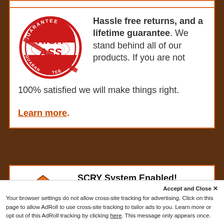[Figure (logo): Kick Ass Guarantee circular red stamp logo with diagonal stripe]
Hassle free returns, and a lifetime guarantee. We stand behind all of our products. If you are not 100% satisfied we will make things right.
Learn more.
[Figure (logo): SCRY System orange diamond/flame logo with eye]
SCRY System Enabled! The SCRY System is a new feature that ensures you
Accept and Close ✕
Your browser settings do not allow cross-site tracking for advertising. Click on this page to allow AdRoll to use cross-site tracking to tailor ads to you. Learn more or opt out of this AdRoll tracking by clicking here. This message only appears once.